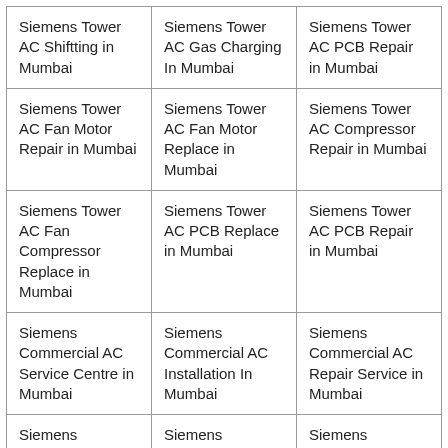| Siemens Tower AC Shiftting in Mumbai | Siemens Tower AC Gas Charging In Mumbai | Siemens Tower AC PCB Repair in Mumbai |
| Siemens Tower AC Fan Motor Repair in Mumbai | Siemens Tower AC Fan Motor Replace in Mumbai | Siemens Tower AC Compressor Repair in Mumbai |
| Siemens Tower AC Fan Compressor Replace in Mumbai | Siemens Tower AC PCB Replace in Mumbai | Siemens Tower AC PCB Repair in Mumbai |
| Siemens Commercial AC Service Centre in Mumbai | Siemens Commercial AC Installation In Mumbai | Siemens Commercial AC Repair Service in Mumbai |
| Siemens Commercial AC Service in Mumbai | Siemens Commercial AC Repair in Mumbai | Siemens Commercial AC Gas Filling in Mumbai |